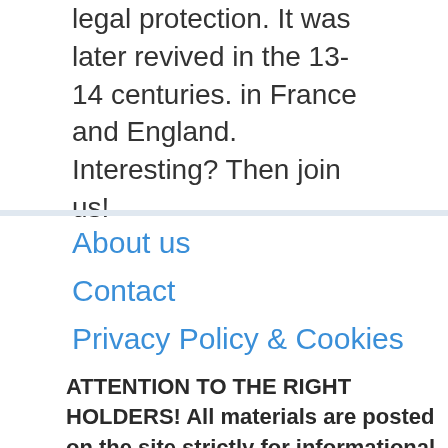legal protection. It was later revived in the 13-14 centuries. in France and England. Interesting? Then join us!
About us
Contact
Privacy Policy & Cookies
ATTENTION TO THE RIGHT HOLDERS! All materials are posted on the site strictly for informational and educational purposes! If you believe that posting any material infringes your copyright, be sure to contact us via the contact form and your material will be removed.